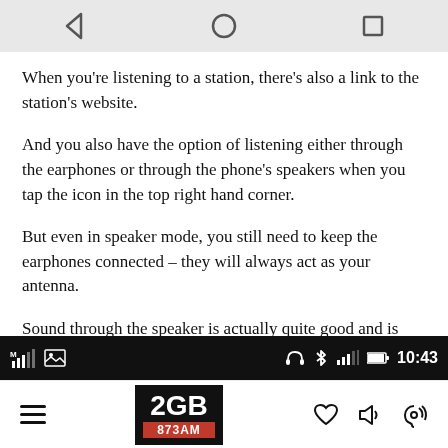[Figure (screenshot): Phone navigation bar with back arrow, home circle, and recent apps square icons on grey background]
When you’re listening to a station, there’s also a link to the station’s website.
And you also have the option of listening either through the earphones or through the phone’s speakers when you tap the icon in the top right hand corner.
But even in speaker mode, you still need to keep the earphones connected – they will always act as your antenna.
Sound through the speaker is actually quite good and is loud enough to hear from across the room.
[Figure (screenshot): Android status bar showing signal icons, headphone icon, Bluetooth icon, battery at 10:43, and app bar with 2GB 873AM logo, hamburger menu, heart, speaker, and ear icons]